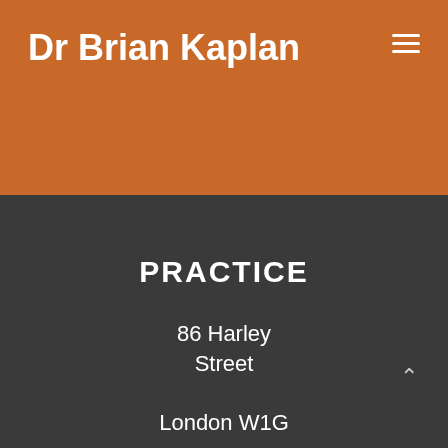Dr Brian Kaplan
PRACTICE
86 Harley Street
London W1G